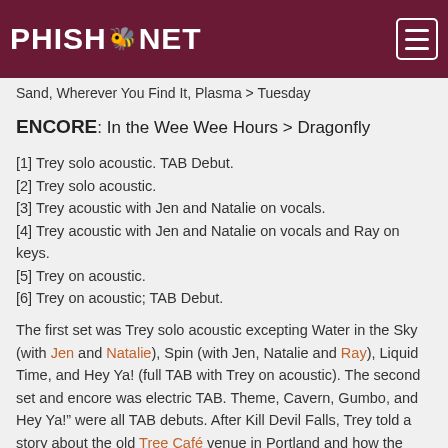PHISH.NET
Sand, Wherever You Find It, Plasma > Tuesday
ENCORE: In the Wee Wee Hours > Dragonfly
[1] Trey solo acoustic. TAB Debut.
[2] Trey solo acoustic.
[3] Trey acoustic with Jen and Natalie on vocals.
[4] Trey acoustic with Jen and Natalie on vocals and Ray on keys.
[5] Trey on acoustic.
[6] Trey on acoustic; TAB Debut.
The first set was Trey solo acoustic excepting Water in the Sky (with Jen and Natalie), Spin (with Jen, Natalie and Ray), Liquid Time, and Hey Ya! (full TAB with Trey on acoustic). The second set and encore was electric TAB. Theme, Cavern, Gumbo, and Hey Ya!" were all TAB debuts. After Kill Devil Falls, Trey told a story about the old Tree Café venue in Portland and how the